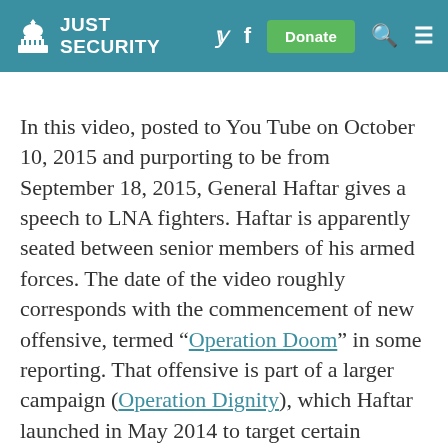JUST SECURITY
In this video, posted to You Tube on October 10, 2015 and purporting to be from September 18, 2015, General Haftar gives a speech to LNA fighters. Haftar is apparently seated between senior members of his armed forces. The date of the video roughly corresponds with the commencement of new offensive, termed “Operation Doom” in some reporting. That offensive is part of a larger campaign (Operation Dignity), which Haftar launched in May 2014 to target certain jihadist militias. Here is the full video of the event and speech, and here is a clip from the speech in which